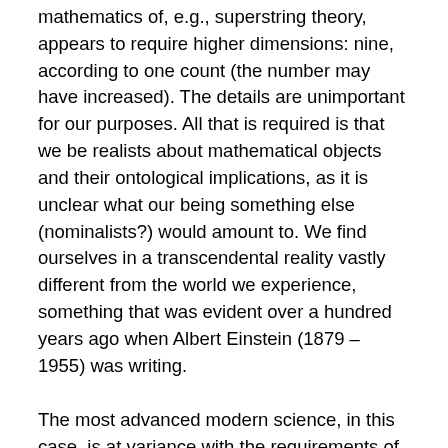mathematics of, e.g., superstring theory, appears to require higher dimensions: nine, according to one count (the number may have increased). The details are unimportant for our purposes. All that is required is that we be realists about mathematical objects and their ontological implications, as it is unclear what our being something else (nominalists?) would amount to. We find ourselves in a transcendental reality vastly different from the world we experience, something that was evident over a hundred years ago when Albert Einstein (1879 – 1955) was writing.
The most advanced modern science, in this case, is at variance with the requirements of materialism but compatible with Christianity. Note carefully: compatibility is a logical relation. Two propositions are compatible if both can be true in the same possible universe. Physical